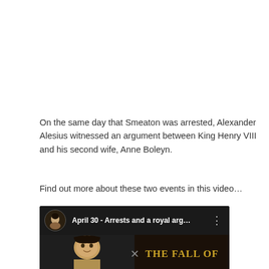On the same day that Smeaton was arrested, Alexander Alesius witnessed an argument between King Henry VIII and his second wife, Anne Boleyn.
Find out more about these two events in this video…
[Figure (screenshot): Video thumbnail showing title 'April 30 - Arrests and a royal arg...' with a circular portrait avatar on the left, a three-dot menu icon, and an image below split between a person's face/hair on the left and a dark book background with the text 'THE FALL OF' in gold on the right.]